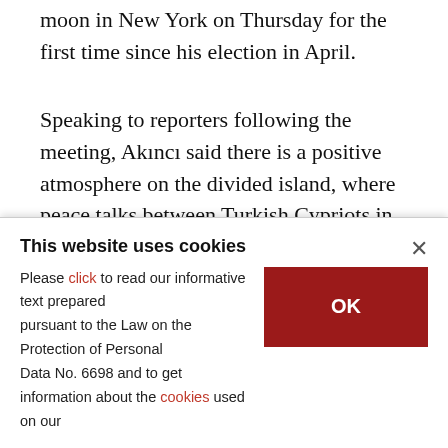moon in New York on Thursday for the first time since his election in April.
Speaking to reporters following the meeting, Akıncı said there is a positive atmosphere on the divided island, where peace talks between Turkish Cypriots in the north and Greek Cypriots in the south restarted last month.
"I'm very much convinced that with this mood and
This website uses cookies
Please click to read our informative text prepared pursuant to the Law on the Protection of Personal Data No. 6698 and to get information about the cookies used on our